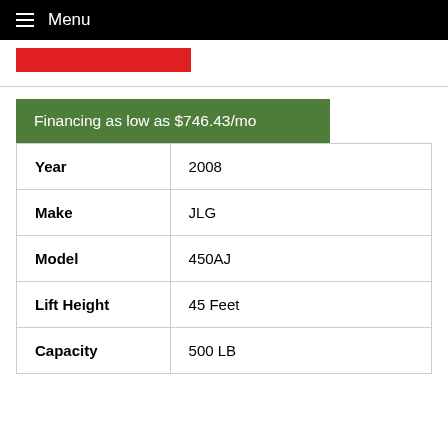Menu
Financing as low as $746.43/mo
| Year | 2008 |
| Make | JLG |
| Model | 450AJ |
| Lift Height | 45 Feet |
| Capacity | 500 LB |